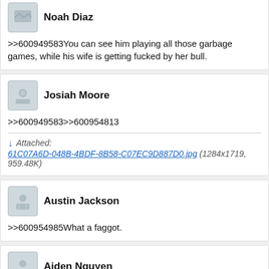Noah Diaz
>>600949583You can see him playing all those garbage games, while his wife is getting fucked by her bull.
Josiah Moore
>>600949583>>600954813
Attached: 61C07A6D-048B-4BDF-8B58-C07EC9D887D0.jpg (1284x1719, 959.48K)
Austin Jackson
>>600954985What a faggot.
Aiden Nguyen
>>600954808Its actually lightly thinning on top because I have psoriasis that went untreated for 6 months. It will grow back now that I'm medicated but it apparently takes